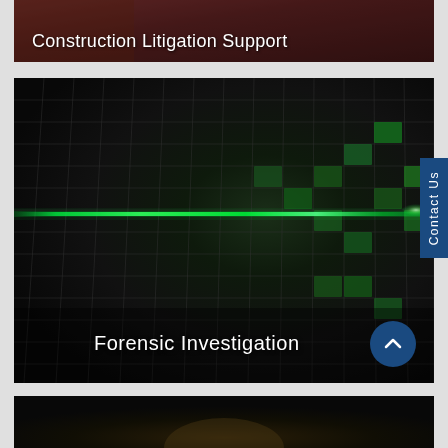[Figure (photo): Dark reddish-brown image of construction or legal materials with text overlay 'Construction Litigation Support' in white]
Construction Litigation Support
[Figure (photo): Dark photo of a mosaic tile wall with a green laser line running horizontally across it. Text overlay reads 'Forensic Investigation'. A scroll-up arrow button appears at bottom right and a vertical 'Contact Us' tab on the right side.]
Forensic Investigation
[Figure (photo): Dark image at bottom, partially visible, showing what appears to be hands or equipment on a dark background.]